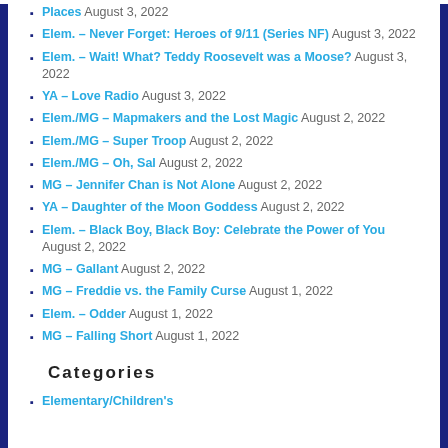Places August 3, 2022
Elem. – Never Forget: Heroes of 9/11 (Series NF) August 3, 2022
Elem. – Wait! What? Teddy Roosevelt was a Moose? August 3, 2022
YA – Love Radio August 3, 2022
Elem./MG – Mapmakers and the Lost Magic August 2, 2022
Elem./MG – Super Troop August 2, 2022
Elem./MG – Oh, Sal August 2, 2022
MG – Jennifer Chan is Not Alone August 2, 2022
YA – Daughter of the Moon Goddess August 2, 2022
Elem. – Black Boy, Black Boy: Celebrate the Power of You August 2, 2022
MG – Gallant August 2, 2022
MG – Freddie vs. the Family Curse August 1, 2022
Elem. – Odder August 1, 2022
MG – Falling Short August 1, 2022
Categories
Elementary/Children's